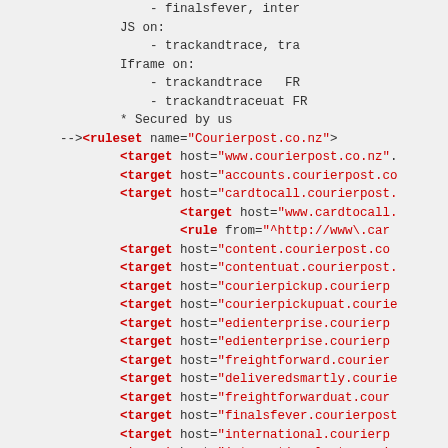- finalsfever, inter
        JS on:
            - trackandtrace, tra
        Iframe on:
            - trackandtrace   FR
            - trackandtraceuat FR
        * Secured by us
--><ruleset name="Courierpost.co.nz">
        <target host="www.courierpost.co.nz".
        <target host="accounts.courierpost.co
        <target host="cardtocall.courierpost.
                <target host="www.cardtocall.
                <rule from="^http://www\.car
        <target host="content.courierpost.co
        <target host="contentuat.courierpost.
        <target host="courierpickup.courierp
        <target host="courierpickupuat.courie
        <target host="edienterprise.courierpd
        <target host="edienterprise.courierp
        <target host="freightforward.courier
        <target host="deliveredsmartly.courie
        <target host="freightforwarduat.cour
        <target host="finalsfever.courierpost
        <target host="international.courierp
        <target host="internationaluat.courie
        <target host="cardtocalluat.courierp
        <target host="login.courierpost.co.nz
        <target host="senditnow.courierpost.
        <target host="senditnowuat.courierpos
        <target host="loginuat.courierpost.co